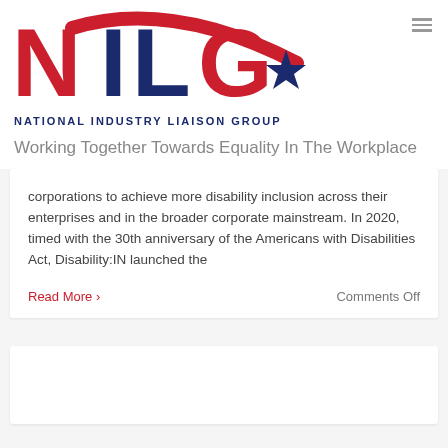[Figure (logo): NILG - National Industry Liaison Group logo with red swoosh and navy blue star]
Working Together Towards Equality In The Workplace
corporations to achieve more disability inclusion across their enterprises and in the broader corporate mainstream. In 2020, timed with the 30th anniversary of the Americans with Disabilities Act, Disability:IN launched the
Read More >
Comments Off